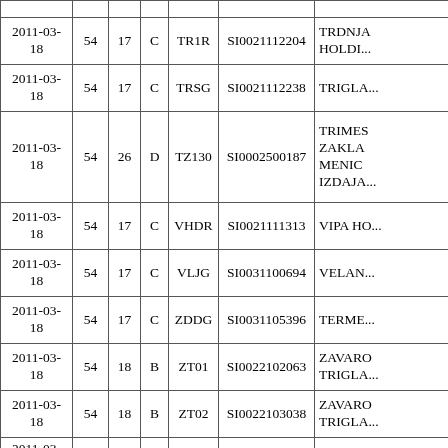| Date | Col2 | Col3 | Col4 | Ticker | ISIN | Name |
| --- | --- | --- | --- | --- | --- | --- |
| 2011-03-18 | 54 | 17 | C | TR1R | SI0021112204 | TRDNJA HOLDI... |
| 2011-03-18 | 54 | 17 | C | TRSG | SI0021112238 | TRIGLA... |
| 2011-03-18 | 54 | 26 | D | TZ130 | SI0002500187 | TRIMES ZAKLA MENIC IZDAJA... |
| 2011-03-18 | 54 | 17 | C | VHDR | SI0021111313 | VIPA HO... |
| 2011-03-18 | 54 | 17 | C | VLJG | SI0031100694 | VELAN... |
| 2011-03-18 | 54 | 17 | C | ZDDG | SI0031105396 | TERME... |
| 2011-03-18 | 54 | 18 | B | ZT01 | SI0022102063 | ZAVARO TRIGLA... |
| 2011-03-18 | 54 | 18 | B | ZT02 | SI0022103038 | ZAVARO TRIGLA... |
| 2011-03-18 | 54 | 16 | C | ZTOG | SI0031108440 | ?ITO |